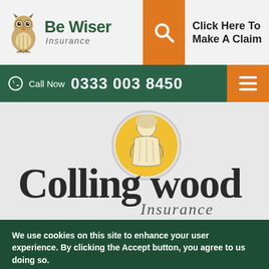[Figure (logo): Be Wiser Insurance logo with owl mascot]
Click Here To Make A Claim
Call Now  0333 003 8450
[Figure (logo): Collingwood Insurance logo with historical figure in yellow circle]
We use cookies on this site to enhance your user experience. By clicking the Accept button, you agree to us doing so.
Agree  More Info  No Thanks